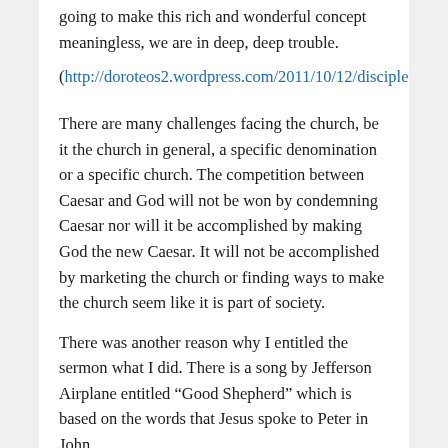going to make this rich and wonderful concept meaningless, we are in deep, deep trouble.
(http://doroteos2.wordpress.com/2011/10/12/discipleshi)
There are many challenges facing the church, be it the church in general, a specific denomination or a specific church. The competition between Caesar and God will not be won by condemning Caesar nor will it be accomplished by making God the new Caesar. It will not be accomplished by marketing the church or finding ways to make the church seem like it is part of society.
There was another reason why I entitled the sermon what I did. There is a song by Jefferson Airplane entitled “Good Shepherd” which is based on the words that Jesus spoke to Peter in John.